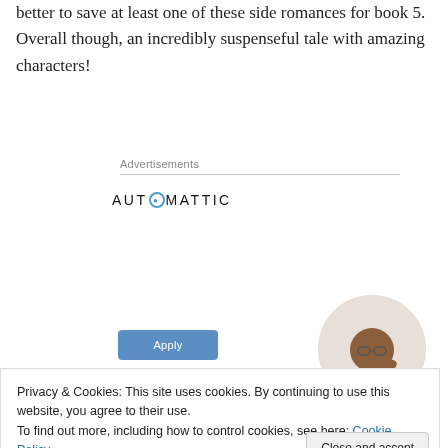better to save at least one of these side romances for book 5. Overall though, an incredibly suspenseful tale with amazing characters!
Advertisements
[Figure (logo): Automattic logo with stylized 'O' containing a circle/dot icon]
[Figure (infographic): Advertisement: 'Build a better web and a better world.' with an Apply button and a photo of a man thinking in a circle crop]
Privacy & Cookies: This site uses cookies. By continuing to use this website, you agree to their use.
To find out more, including how to control cookies, see here: Cookie Policy
Close and accept